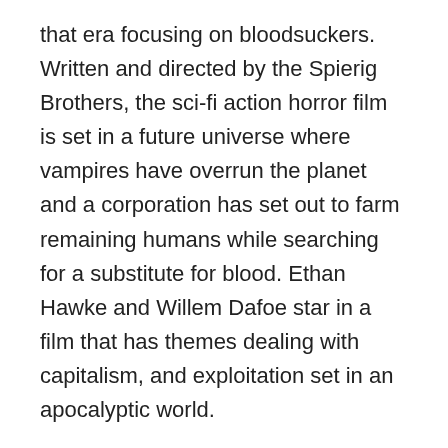that era focusing on bloodsuckers. Written and directed by the Spierig Brothers, the sci-fi action horror film is set in a future universe where vampires have overrun the planet and a corporation has set out to farm remaining humans while searching for a substitute for blood. Ethan Hawke and Willem Dafoe star in a film that has themes dealing with capitalism, and exploitation set in an apocalyptic world.
Stream here
Child's Play (1988)
Directed and co-written by Tom Holland, Child's